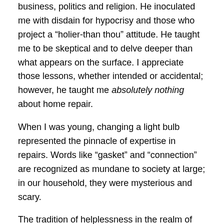business, politics and religion. He inoculated me with disdain for hypocrisy and those who project a “holier-than thou” attitude. He taught me to be skeptical and to delve deeper than what appears on the surface. I appreciate those lessons, whether intended or accidental; however, he taught me absolutely nothing about home repair.
When I was young, changing a light bulb represented the pinnacle of expertise in repairs. Words like “gasket” and “connection” are recognized as mundane to society at large; in our household, they were mysterious and scary.
The tradition of helplessness in the realm of repairs continued into my adult life. Regretting my ignorance, and hoping to ingratiate myself with a particular girl, I once enrolled in an adult class in lamp wiring. I learned enough to know that I never want to wire a lamp. There was